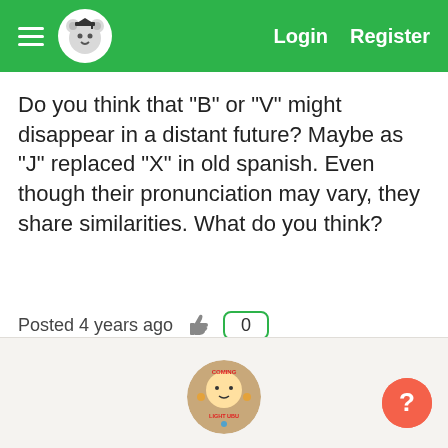Login  Register
Do you think that "B" or "V" might disappear in a distant future? Maybe as "J" replaced "X" in old spanish. Even though their pronunciation may vary, they share similarities. What do you think?
Posted 4 years ago  0
#1